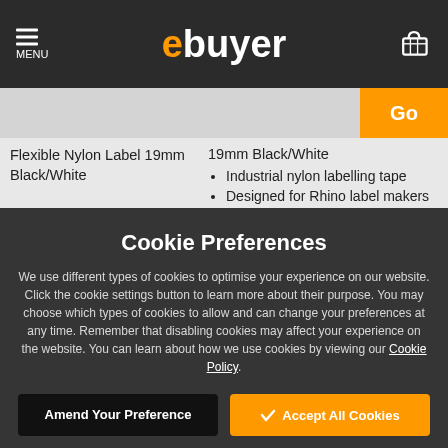ebuyer - MENU
Flexible Nylon Label 19mm Black/White | 19mm Black/White
- Industrial nylon labelling tape
- Designed for Rhino label makers
Cookie Preferences
We use different types of cookies to optimise your experience on our website. Click the cookie settings button to learn more about their purpose. You may choose which types of cookies to allow and can change your preferences at any time. Remember that disabling cookies may affect your experience on the website. You can learn about how we use cookies by viewing our Cookie Policy.
Amend Your Preference | Accept All Cookies